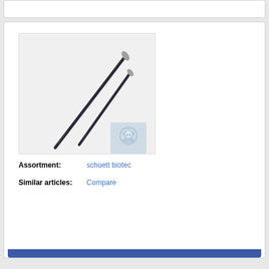[Figure (photo): Two dissecting needles/probes with dark handles and metal tips, one longer and one shorter, arranged diagonally on a light grey background with a Schuett biotec logo watermark in the lower right corner]
Assortment: schuett biotec
Similar articles: Compare